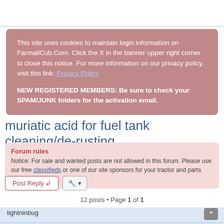This site uses cookies to maintain login information on FarmallCub.Com. Click the X in the banner upper right corner to close this notice. For more information on our privacy policy, visit this link: Privacy Policy

NEW REGISTERED MEMBERS: Be sure to check your SPAM/JUNK folders for the activation email.
muriatic acid for fuel tank cleaning/de-rusting
Forum rules
Notice: For sale and wanted posts are not allowed in this forum. Please use our free classifieds or one of our site sponsors for your tractor and parts needs.
12 posts • Page 1 of 1
lightninbug
muriatic acid for fuel tank cleaning/de-rusting